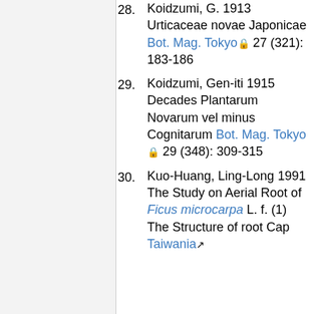28. Koidzumi, G. 1913 Urticaceae novae Japonicae Bot. Mag. Tokyo 27 (321): 183-186
29. Koidzumi, Gen-iti 1915 Decades Plantarum Novarum vel minus Cognitarum Bot. Mag. Tokyo 29 (348): 309-315
30. Kuo-Huang, Ling-Long 1991 The Study on Aerial Root of Ficus microcarpa L. f. (1) The Structure of root Cap Taiwania